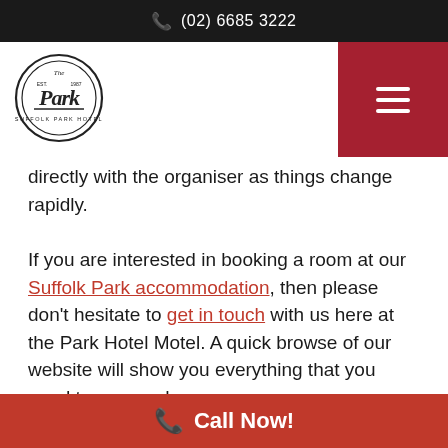(02) 6685 3222
[Figure (logo): The Park Hotel Motel circular logo badge]
directly with the organiser as things change rapidly.
If you are interested in booking a room at our Suffolk Park accommodation, then please don't hesitate to get in touch with us here at the Park Hotel Motel. A quick browse of our website will show you everything that you need to see, and
Call Now!